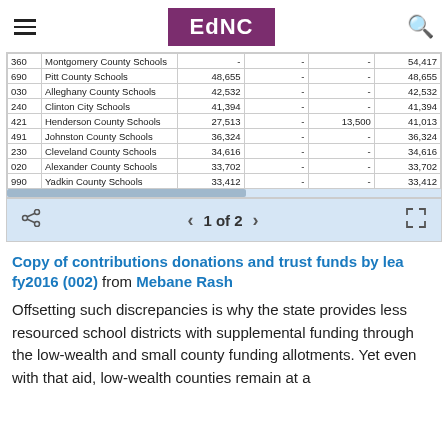EdNC
|  | Name | Col3 | Col4 | Col5 | Total |
| --- | --- | --- | --- | --- | --- |
| 360 | Montgomery County Schools | - | - | - | 54,417 |
| 690 | Pitt County Schools | 48,655 | - | - | 48,655 |
| 030 | Alleghany County Schools | 42,532 | - | - | 42,532 |
| 240 | Clinton City Schools | 41,394 | - | - | 41,394 |
| 421 | Henderson County Schools | 27,513 | - | 13,500 | 41,013 |
| 491 | Johnston County Schools | 36,324 | - | - | 36,324 |
| 230 | Cleveland County Schools | 34,616 | - | - | 34,616 |
| 020 | Alexander County Schools | 33,702 | - | - | 33,702 |
| 990 | Yadkin County Schools | 33,412 | - | - | 33,412 |
1 of 2
Copy of contributions donations and trust funds by lea fy2016 (002) from Mebane Rash
Offsetting such discrepancies is why the state provides less resourced school districts with supplemental funding through the low-wealth and small county funding allotments. Yet even with that aid, low-wealth counties remain at a